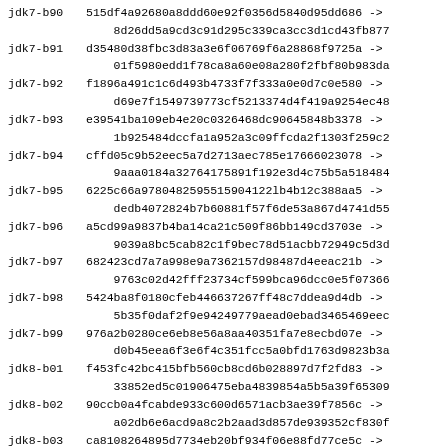jdk7-b90  515df4a92680a8ddd60e92f0356d5840d95dd686 -> 8d26dd5a9cd3c91d295c339ca3cc3d1cd43fb877
jdk7-b91  d35480d38fbc3d83a3e6f06769f6a28868f9725a -> 01f5980edd1f78ca8a60e08a280f2fbf80b983da
jdk7-b92  f1896a491c1c6d493b4733f7f333a0e0d7c0e580 -> d69e7f1549739773cf5213374d4f419a9254ec48
jdk7-b93  e39541ba109eb4e20c0326468dc90645848b3378 -> 1b925484dccfa1a952a3c09ffcda2f1303f259c2
jdk7-b94  cffd05c9b52eec5a7d2713aec785e17666023078 -> 9aaa0184a32764175891f192e3d4c75b5a518484
jdk7-b95  6225c66a9780482595515904122lb4b12c388aa5 -> dedb4072824b7b60881f57f6de53a867d4741d55
jdk7-b96  a5cd99a9837b4ba14ca21c509f86bb149cd3703e -> 9039a8bc5cab82c1f9bec78d51acbb72949c5d3d
jdk7-b97  682423cd7a7a998e9a7362157d98487d4eeac21b -> 9763c02d42fff23734cf599bca96dcc0e5f07366
jdk7-b98  5424ba8f0180cfeb446637267ff48c7ddea9d4db -> 5b35f0daf2f9e94249779aead0ebad3465469eec
jdk7-b99  976a2b0280ce6eb8e56a8aa40351fa7e8ecbd07e -> d0b45eea6f3e6f4c351fcc5a0bfd1763d9823b3a
jdk8-b01  f453fc42bc415bfb560cb8cd6b028897d7f2fd83 -> 33852ed5c01906475eba4839854a5b5a39f65309
jdk8-b02  90ccb0a4fcabde933c600d6571acb3ae39f7856c -> a02db6e6acd9a8c2b2aad3d857de939352cf830f
jdk8-b03  ca8108264895d7734eb20bf934f06e88fd77ce5c -> fc7477630f94a58df74e1e0ea1a7edc137ef49cc
jdk8-b04  b6f90b98671674b67569831649bc43f60deb16ad -> 25af5e82f9f7f61ff66237834b9a21ff5cd60fa0
jdk8-b05  a2b99839ae326e2c4036fdb44b5b8726fdb9a02e -> 4279c95658b930659279147f9569d4e252e92d65